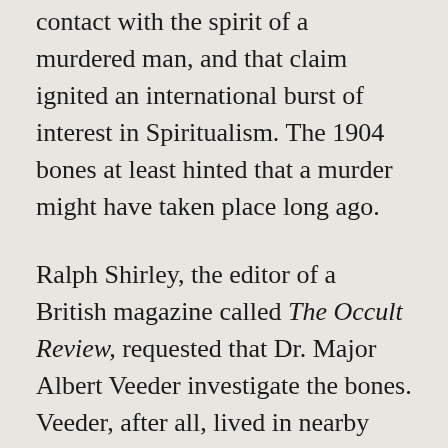contact with the spirit of a murdered man, and that claim ignited an international burst of interest in Spiritualism. The 1904 bones at least hinted that a murder might have taken place long ago.
Ralph Shirley, the editor of a British magazine called The Occult Review, requested that Dr. Major Albert Veeder investigate the bones. Veeder, after all, lived in nearby Lyons, New York. Alas, the doctor's findings suggested a hoax.
In that post, I touch on the mystery of how